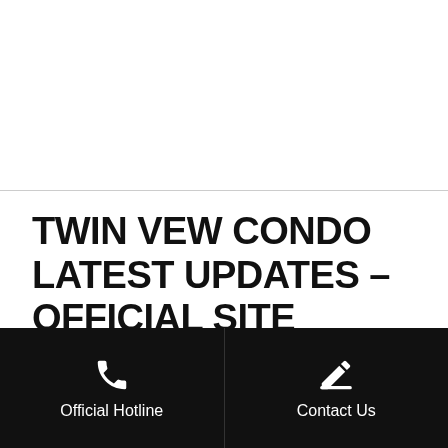[Figure (photo): White space with a horizontal divider line, top portion of the page]
TWIN VEW CONDO LATEST UPDATES – OFFICIAL SITE
21.07.2020: Twin VEW Condo Showflat Opens For Booking! Register Your Interest With Us Today For
Official Hotline | Contact Us